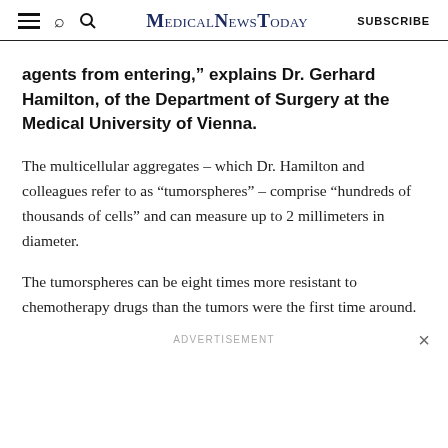MedicalNewsToday SUBSCRIBE
agents from entering,” explains Dr. Gerhard Hamilton, of the Department of Surgery at the Medical University of Vienna.
The multicellular aggregates – which Dr. Hamilton and colleagues refer to as “tumorspheres” – comprise “hundreds of thousands of cells” and can measure up to 2 millimeters in diameter.
The tumorspheres can be eight times more resistant to chemotherapy drugs than the tumors were the first time around.
ADVERTISEMENT